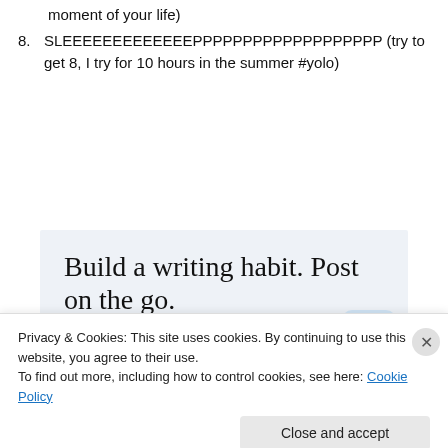moment of your life)
8. SLEEEEEEEEEEEEEPPPPPPPPPPPPPPPPPPP (try to get 8, I try for 10 hours in the summer #yolo)
[Figure (other): WordPress advertisement banner with light blue background. Text reads 'Build a writing habit. Post on the go.' with a blue 'GET THE APP' call to action and WordPress circular logo icon.]
Privacy & Cookies: This site uses cookies. By continuing to use this website, you agree to their use. To find out more, including how to control cookies, see here: Cookie Policy
Close and accept